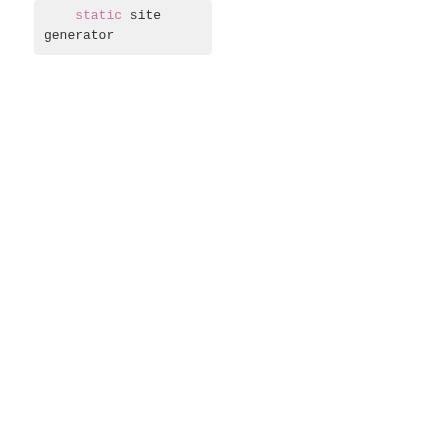[Figure (screenshot): Code snippet showing 'static site generator' with 'static' highlighted as a keyword in pink/magenta color, on a light gray background]